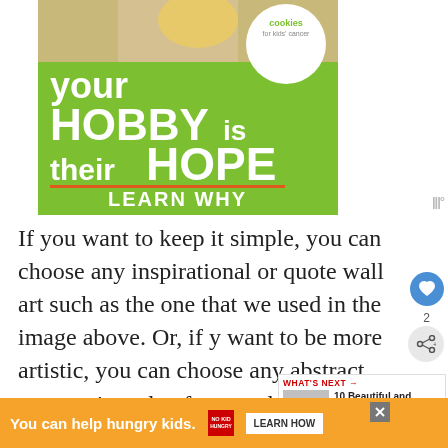[Figure (illustration): Advertisement banner for Cookies for Kids' Cancer charity showing a hand holding a cookie, on a green background with white text: 'your HOBBY is their HOPE — LEARN WHY']
If you want to keep it simple, you can choose any inspirational or quote wall art such as the one that we used in the image above. Or, if you want to be more artistic, you can choose any abstract geometric style of rose gold art.
To make it even better, wrap those wall art in a ros...sult.
[Figure (illustration): Bottom advertisement bar: 'You can help hungry kids.' with No Kid Hungry logo and LEARN HOW button on orange background]